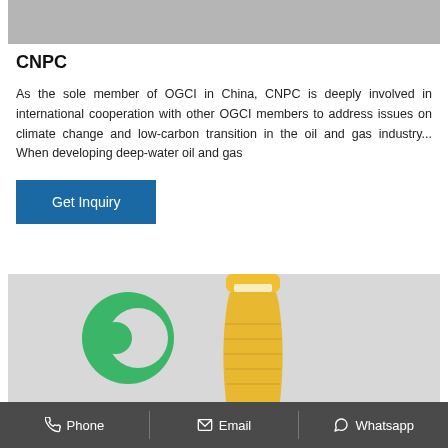[Figure (photo): Gray banner image at top of page]
CNPC
As the sole member of OGCI in China, CNPC is deeply involved in international cooperation with other OGCI members to address issues on climate change and low-carbon transition in the oil and gas industry... When developing deep-water oil and gas
Get Inquiry
[Figure (photo): Image showing a green circular logo and a yellow plastic bottle on a light gray background]
Phone   Email   Whatsapp